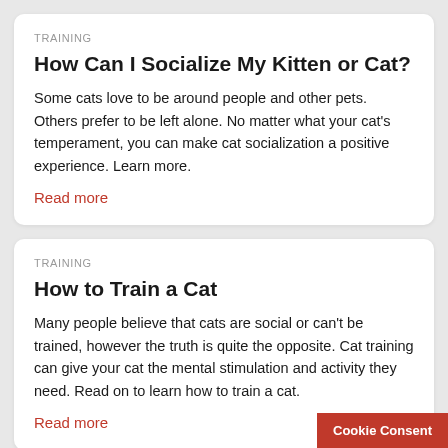TRAINING
How Can I Socialize My Kitten or Cat?
Some cats love to be around people and other pets. Others prefer to be left alone. No matter what your cat's temperament, you can make cat socialization a positive experience. Learn more.
Read more
TRAINING
How to Train a Cat
Many people believe that cats are social or can't be trained, however the truth is quite the opposite. Cat training can give your cat the mental stimulation and activity they need. Read on to learn how to train a cat.
Read more
Cookie Consent